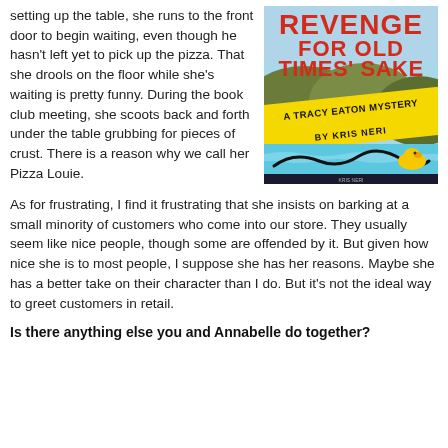setting up the table, she runs to the front door to begin waiting, even though he hasn't left yet to pick up the pizza. That she drools on the floor while she's waiting is pretty funny. During the book club meeting, she scoots back and forth under the table grubbing for pieces of crust. There is a reason why we call her Pizza Louie.
[Figure (illustration): Book cover for 'Revenge for Old Times' Sake: A Tracy Eaton Mystery by Kris Neri'. Features bold red and yellow text, Hollywood hills in background, and a rubber duck in a pool at the bottom.]
As for frustrating, I find it frustrating that she insists on barking at a small minority of customers who come into our store. They usually seem like nice people, though some are offended by it. But given how nice she is to most people, I suppose she has her reasons. Maybe she has a better take on their character than I do. But it's not the ideal way to greet customers in retail.
Is there anything else you and Annabelle do together?